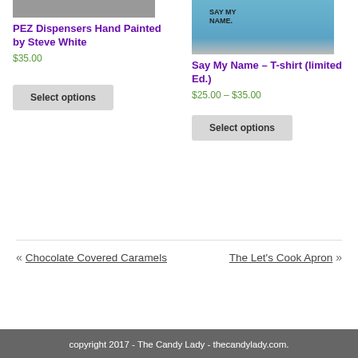[Figure (photo): Cropped top of product image for PEZ Dispensers]
PEZ Dispensers Hand Painted by Steve White
$35.00
Select options
[Figure (photo): T-shirt with 'Say My Name' graphic in blue]
Say My Name – T-shirt (limited Ed.)
$25.00 – $35.00
Select options
« Chocolate Covered Caramels    The Let's Cook Apron »
copyright 2017 - The Candy Lady - thecandylady.com.